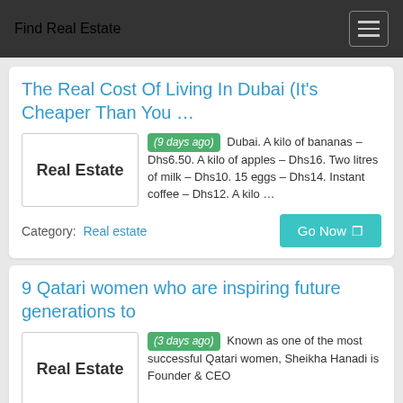Find Real Estate
The Real Cost Of Living In Dubai (It's Cheaper Than You …
(9 days ago) Dubai. A kilo of bananas – Dhs6.50. A kilo of apples – Dhs16. Two litres of milk – Dhs10. 15 eggs – Dhs14. Instant coffee – Dhs12. A kilo …
Category:  Real estate
9 Qatari women who are inspiring future generations to
(3 days ago) Known as one of the most successful Qatari women, Sheikha Hanadi is Founder & CEO